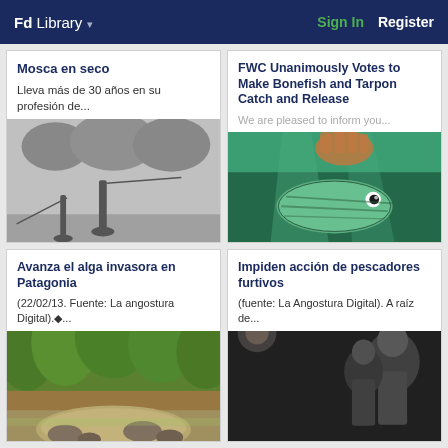Fd Library  Sign In  Register
Mosca en seco
Lleva más de 30 años en su profesión de...
[Figure (photo): Black and white photo of a person fly fishing in an open field with trees in background]
FWC Unanimously Votes to Make Bonefish and Tarpon Catch and Release
We are pleased to inform you...
[Figure (photo): Underwater color photo of a bonefish being held near the water surface]
Avanza el alga invasora en Patagonia
(22/02/13. Fuente: La angostura Digital).◆...
[Figure (photo): Color photo of a river or stream with rocks and green vegetation in Patagonia]
Impiden acción de pescadores furtivos
(fuente: La Angostura Digital). A raíz de...
[Figure (photo): Dark/night photo of fishermen]